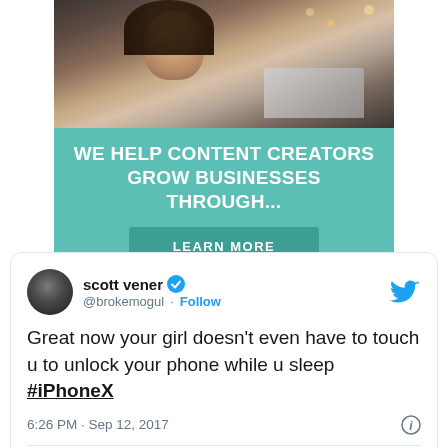[Figure (photo): Advertisement banner with photo of a smiling woman with glasses working on a laptop, teal background with text 'WE HELP CONTENT CREATORS GROW BUSINESSES THROUGH...' and a 'LEARN MORE' button]
scott vener @brokemogul · Follow
Great now your girl doesn't even have to touch u to unlock your phone while u sleep #iPhoneX
6:26 PM · Sep 12, 2017
430 Reply Copy link to Tweet